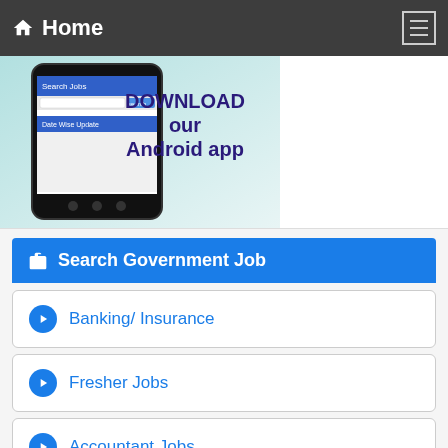Home
[Figure (screenshot): Banner advertisement showing a smartphone with 'Search Jobs' and 'Date Wise Update' screens, with text 'DOWNLOAD our Android app' on a teal/mint gradient background]
Search Government Job
Banking/ Insurance
Fresher Jobs
Accountant Jobs